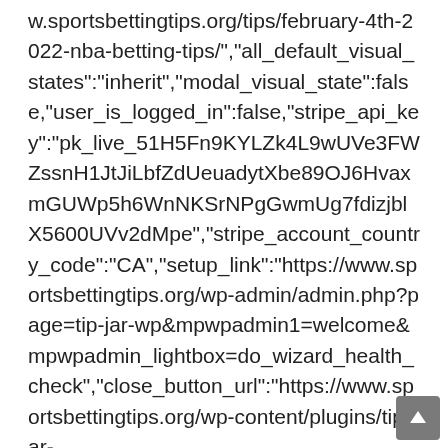w.sportsbettingtips.org/tips/february-4th-2022-nba-betting-tips/","all_default_visual_states":"inherit","modal_visual_state":false,"user_is_logged_in":false,"stripe_api_key":"pk_live_51H5Fn9KYLZk4L9wUVe3FWZssnH1JtJiLbfZdUeuadytXbe89OJ6HvaxmGUWp5h6WnNKSrNPgGwmUg7fdizjblX5600UVv2dMpe","stripe_account_country_code":"CA","setup_link":"https://www.sportsbettingtips.org/wp-admin/admin.php?page=tip-jar-wp&mpwpadmin1=welcome&mpwpadmin_lightbox=do_wizard_health_check","close_button_url":"https://www.sportsbettingtips.org/wp-content/plugins/tip-jar-